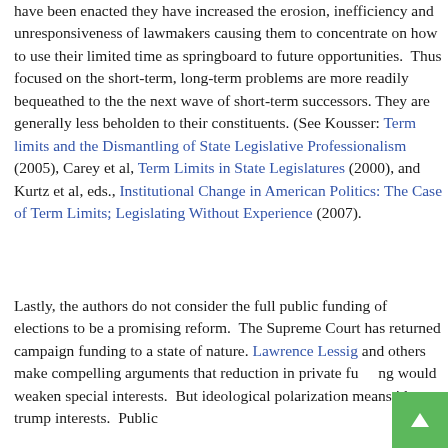have been enacted they have increased the erosion, inefficiency and unresponsiveness of lawmakers causing them to concentrate on how to use their limited time as springboard to future opportunities.  Thus focused on the short-term, long-term problems are more readily bequeathed to the the next wave of short-term successors. They are generally less beholden to their constituents. (See Kousser: Term limits and the Dismantling of State Legislative Professionalism (2005), Carey et al, Term Limits in State Legislatures (2000), and Kurtz et al, eds., Institutional Change in American Politics: The Case of Term Limits; Legislating Without Experience (2007).
Lastly, the authors do not consider the full public funding of elections to be a promising reform.  The Supreme Court has returned campaign funding to a state of nature. Lawrence Lessig and others make compelling arguments that reduction in private funding would weaken special interests.  But ideological polarization means ideas trump interests.  Public